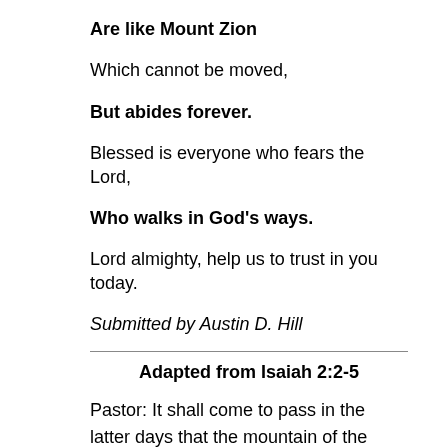Are like Mount Zion
Which cannot be moved,
But abides forever.
Blessed is everyone who fears the Lord,
Who walks in God's ways.
Lord almighty, help us to trust in you today.
Submitted by Austin D. Hill
Adapted from Isaiah 2:2-5
Pastor: It shall come to pass in the latter days that the mountain of the house of the LORD shall be established as the highest of the mountains, and shall be lifted up above the hills; and all the